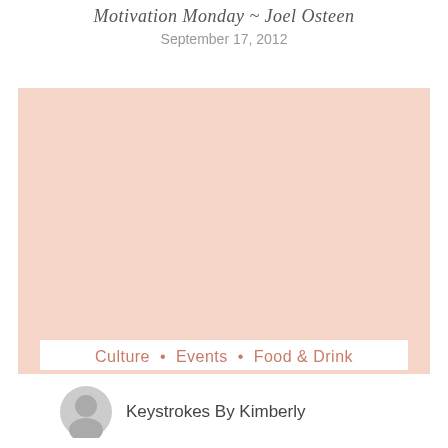Motivation Monday ~ Joel Osteen
September 17, 2012
[Figure (photo): Large rectangular image placeholder with a pale peach/salmon background color, representing an embedded photo or video thumbnail]
Culture • Events • Food & Drink
Keystrokes By Kimberly